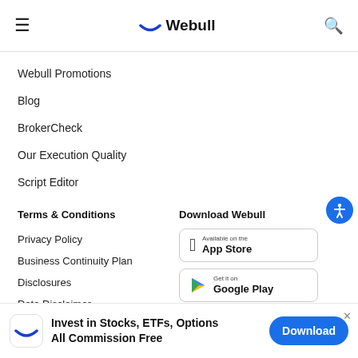Webull
Webull Promotions
Blog
BrokerCheck
Our Execution Quality
Script Editor
Terms & Conditions
Privacy Policy
Business Continuity Plan
Disclosures
Data Disclaimer
Download Webull
[Figure (screenshot): App Store download button]
[Figure (screenshot): Google Play download button]
Invest in Stocks, ETFs, Options All Commission Free
Download